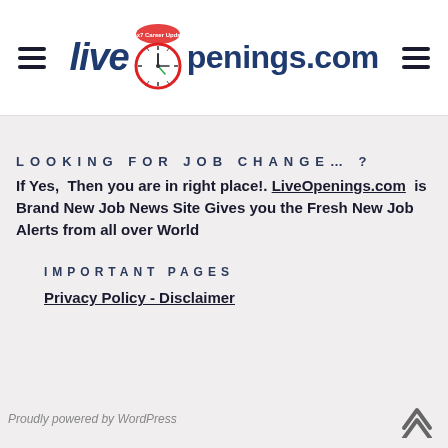LiveOpenings.com
LOOKING FOR JOB CHANGE… ?
If Yes, Then you are in right place!. LiveOpenings.com is Brand New Job News Site Gives you the Fresh New Job Alerts from all over World
IMPORTANT PAGES
Privacy Policy - Disclaimer
Proudly powered by WordPress